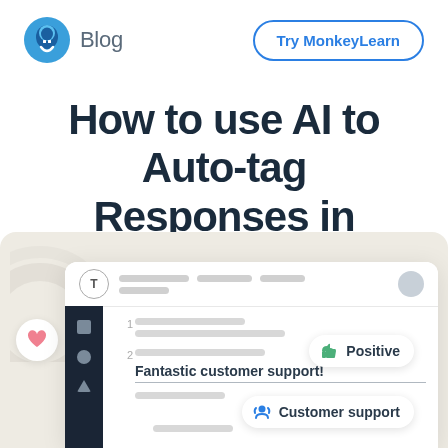Blog | Try MonkeyLearn
How to use AI to Auto-tag Responses in Typeform
[Figure (screenshot): UI screenshot of a MonkeyLearn/Typeform integration interface showing a data table with response rows. Row 2 shows 'Fantastic customer support!' with a 'Positive' sentiment badge (thumbs up icon) and a 'Customer support' category badge (headset icon). A heart icon appears on the left side.]